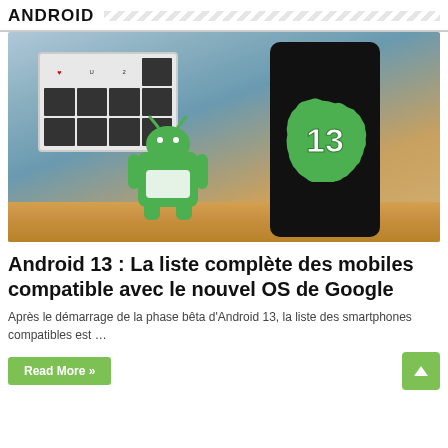ANDROID
[Figure (photo): Photo of an Android 13 figurine next to a smartphone displaying the Android 13 logo badge on a wooden surface, with a light box sign in the background.]
Android 13 : La liste complète des mobiles compatible avec le nouvel OS de Google
Après le démarrage de la phase bêta d'Android 13, la liste des smartphones compatibles est …
Read More »